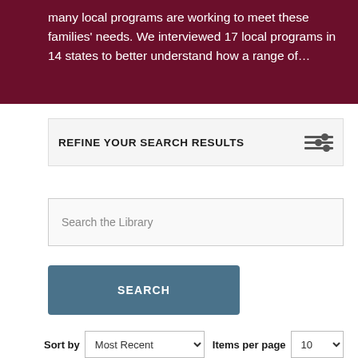[Figure (photo): Dark red/maroon banner background with white text overlay reading: 'many local programs are working to meet these families' needs. We interviewed 17 local programs in 14 states to better understand how a range of…']
REFINE YOUR SEARCH RESULTS
Search the Library
SEARCH
Sort by  Most Recent   Items per page  10